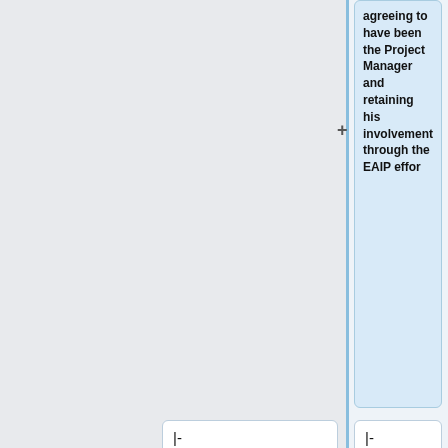agreeing to have been the Project Manager and retaining his involvement through the EAIP effor
|-
|-
|colspan="4" |""Next Meeting/Preliminary Agenda Items""<br/>
|colspan="4" |""Next Meeting/Preliminary Agenda Items""<br/>
*.
*See you in Orlando!
** [http://hl7tsc.org/wiki/index.ph p?